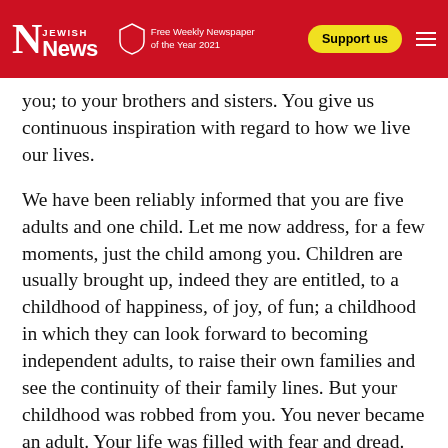Jewish News — Free Weekly Newspaper of the Year 2021 — Support us
you; to your brothers and sisters. You give us continuous inspiration with regard to how we live our lives.
We have been reliably informed that you are five adults and one child. Let me now address, for a few moments, just the child among you. Children are usually brought up, indeed they are entitled, to a childhood of happiness, of joy, of fun; a childhood in which they can look forward to becoming independent adults, to raise their own families and see the continuity of their family lines. But your childhood was robbed from you. You never became an adult. Your life was filled with fear and dread. You witnessed much cruelty. And then, the ultimate